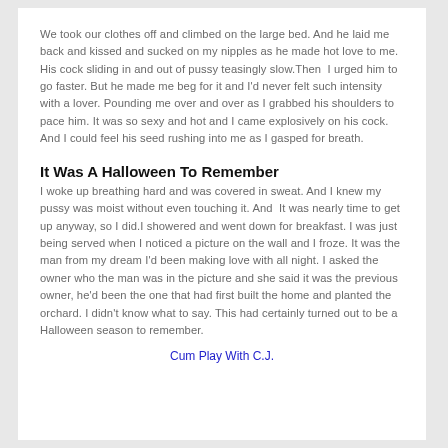We took our clothes off and climbed on the large bed. And he laid me back and kissed and sucked on my nipples as he made hot love to me. His cock sliding in and out of pussy teasingly slow.Then  I urged him to go faster. But he made me beg for it and I'd never felt such intensity with a lover. Pounding me over and over as I grabbed his shoulders to pace him. It was so sexy and hot and I came explosively on his cock. And I could feel his seed rushing into me as I gasped for breath.
It Was A Halloween To Remember
I woke up breathing hard and was covered in sweat. And I knew my pussy was moist without even touching it. And  It was nearly time to get up anyway, so I did.I showered and went down for breakfast. I was just being served when I noticed a picture on the wall and I froze. It was the man from my dream I'd been making love with all night. I asked the owner who the man was in the picture and she said it was the previous owner, he'd been the one that had first built the home and planted the orchard. I didn't know what to say. This had certainly turned out to be a Halloween season to remember.
Cum Play With C.J.